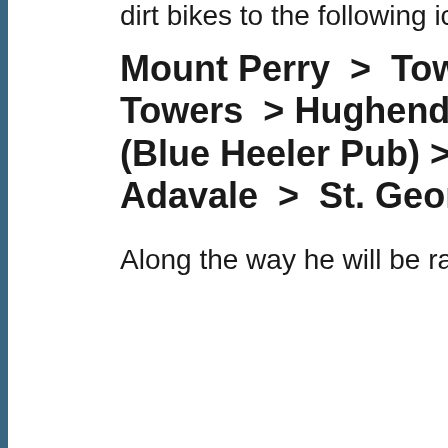dirt bikes to the following iconic c
Mount Perry > Town of 1770 > Towers > Hughenden (start of (Blue Heeler Pub) > Winton > Adavale > St. George > Dar
Along the way he will be raising